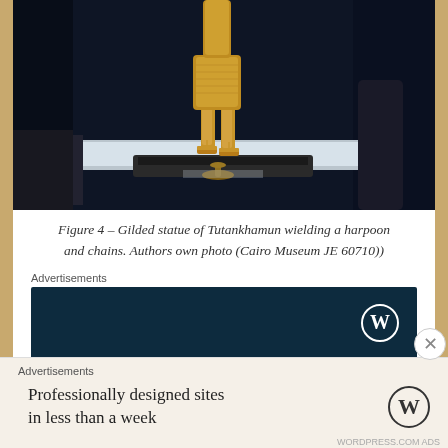[Figure (photo): A gilded statue of Tutankhamun standing on a dark elongated base, photographed in a museum display case. The lower portion of the golden figure is visible, wearing sandals, with a lotus-shaped cup at the base.]
Figure 4 – Gilded statue of Tutankhamun wielding a harpoon and chains. Authors own photo (Cairo Museum JE 60710))
Advertisements
[Figure (screenshot): Dark navy blue WordPress advertisement banner with WordPress logo (W in circle) on the right side.]
Advertisements
[Figure (screenshot): Light beige WordPress advertisement: 'Professionally designed sites in less than a week' with WordPress logo on right.]